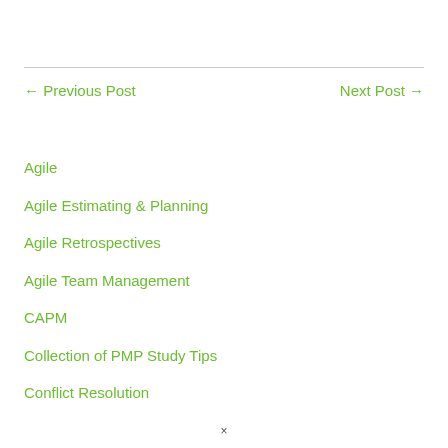← Previous Post
Next Post →
Agile
Agile Estimating & Planning
Agile Retrospectives
Agile Team Management
CAPM
Collection of PMP Study Tips
Conflict Resolution
×